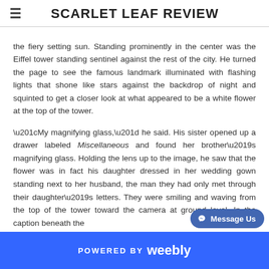SCARLET LEAF REVIEW
the fiery setting sun. Standing prominently in the center was the Eiffel tower standing sentinel against the rest of the city. He turned the page to see the famous landmark illuminated with flashing lights that shone like stars against the backdrop of night and squinted to get a closer look at what appeared to be a white flower at the top of the tower.
“My magnifying glass,” he said. His sister opened up a drawer labeled Miscellaneous and found her brother’s magnifying glass. Holding the lens up to the image, he saw that the flower was in fact his daughter dressed in her wedding gown standing next to her husband, the man they had only met through their daughter’s letters. They were smiling and waving from the top of the tower toward the camera at ground level. In the caption beneath the
POWERED BY weebly